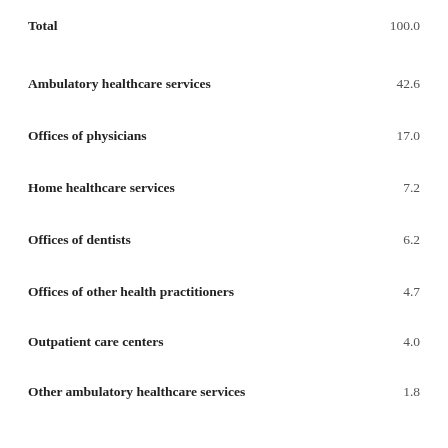Total  100.0
Ambulatory healthcare services  42.6
Offices of physicians  17.0
Home healthcare services  7.2
Offices of dentists  6.2
Offices of other health practitioners  4.7
Outpatient care centers  4.0
Other ambulatory healthcare services  1.8